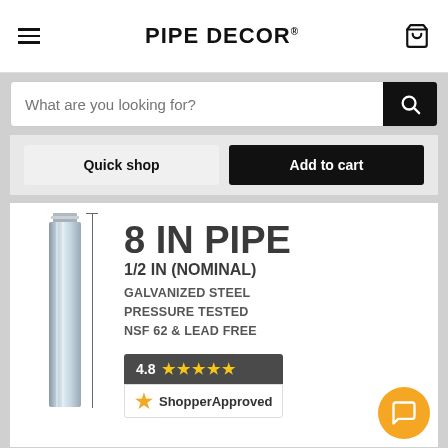PIPE DECOR®
What are you looking for?
Quick shop | Add to cart
[Figure (photo): Galvanized steel pipe, vertical orientation with threaded ends, shown with measurement ruler line]
8 IN PIPE
1/2 IN (NOMINAL)
GALVANIZED STEEL PRESSURE TESTED NSF 62 & LEAD FREE
4.8 ★★★★★
ShopperApproved